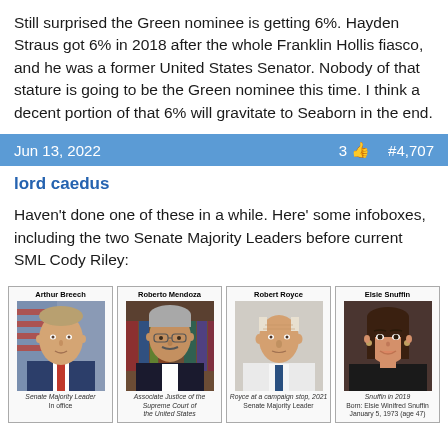Still surprised the Green nominee is getting 6%. Hayden Straus got 6% in 2018 after the whole Franklin Hollis fiasco, and he was a former United States Senator. Nobody of that stature is going to be the Green nominee this time. I think a decent portion of that 6% will gravitate to Seaborn in the end.
Jun 13, 2022   3 👍   #4,707
lord caedus
Haven't done one of these in a while. Here' some infoboxes, including the two Senate Majority Leaders before current SML Cody Riley:
[Figure (infographic): Four infobox panels side by side showing: Arthur Breech (Senate Majority Leader, In office), Roberto Mendoza (Associate Justice of the Supreme Court of the United States), Robert Royce (Royce at a campaign stop, 2021; Senate Majority Leader), Elsie Snuffin (Snuffin in 2019; Born: Elsie Winifred Snuffin, January 5, 1973 (age 47))]